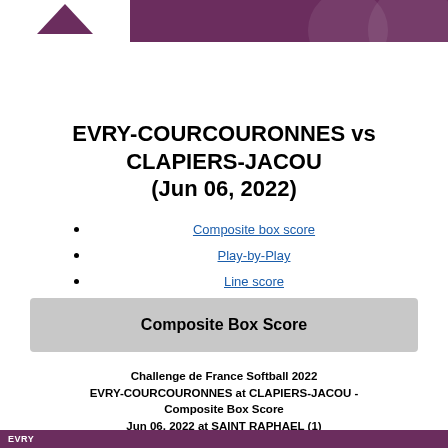EVRY-COURCOURONNES vs CLAPIERS-JACOU game report header
EVRY-COURCOURONNES vs CLAPIERS-JACOU (Jun 06, 2022)
Composite box score
Play-by-Play
Line score
Composite Box Score
Challenge de France Softball 2022 EVRY-COURCOURONNES at CLAPIERS-JACOU - Composite Box Score Jun 06, 2022 at SAINT RAPHAEL (1)
EVRY